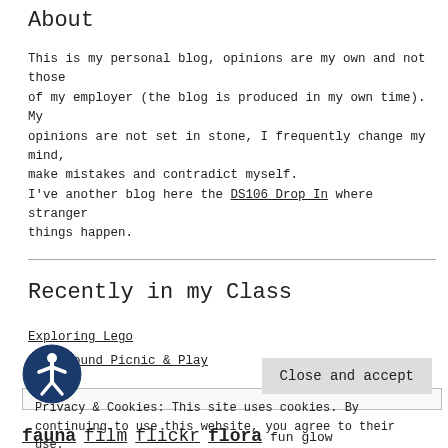About
This is my personal blog, opinions are my own and not those of my employer (the blog is produced in my own time). My opinions are not set in stone, I frequently change my mind, make mistakes and contradict myself.
I've another blog here the DS106 Drop In where stranger things happen.
Recently in my Class
Exploring Lego
Playground Picnic & Play
Privacy & Cookies: This site uses cookies. By continuing to use this website, you agree to their use. To find out more, including how to control cookies, see here: Cookie Policy
Close and accept
fauna film flickr flora fun glow